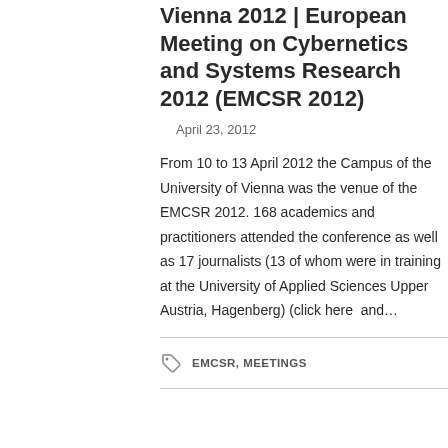Vienna 2012 | European Meeting on Cybernetics and Systems Research 2012 (EMCSR 2012)
April 23, 2012
From 10 to 13 April 2012 the Campus of the University of Vienna was the venue of the EMCSR 2012. 168 academics and practitioners attended the conference as well as 17 journalists (13 of whom were in training at the University of Applied Sciences Upper Austria, Hagenberg) (click here  and…
EMCSR, MEETINGS